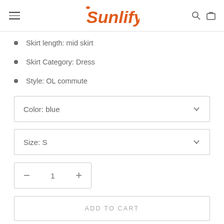Sunlify
Skirt length: mid skirt
Skirt Category: Dress
Style: OL commute
Color: blue
Size: S
1
ADD TO CART